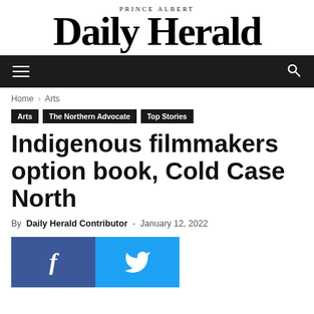Prince Albert Daily Herald
Home › Arts
Arts | The Northern Advocate | Top Stories
Indigenous filmmakers option book, Cold Case North
By Daily Herald Contributor - January 12, 2022
[Figure (other): Facebook and Twitter social share buttons]